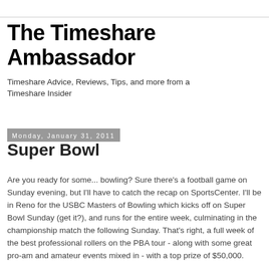The Timeshare Ambassador
Timeshare Advice, Reviews, Tips, and more from a Timeshare Insider
Monday, January 31, 2011
Super Bowl
Are you ready for some... bowling? Sure there's a football game on Sunday evening, but I'll have to catch the recap on SportsCenter. I'll be in Reno for the USBC Masters of Bowling which kicks off on Super Bowl Sunday (get it?), and runs for the entire week, culminating in the championship match the following Sunday. That's right, a full week of the best professional rollers on the PBA tour - along with some great pro-am and amateur events mixed in - with a top prize of $50,000.